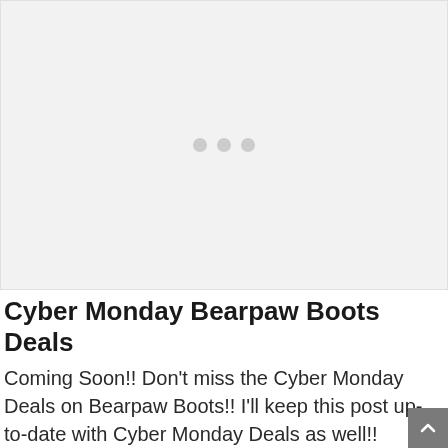[Figure (other): Loading placeholder with three gray dots centered on a light gray background]
Cyber Monday Bearpaw Boots Deals
Coming Soon!! Don't miss the Cyber Monday Deals on Bearpaw Boots!! I'll keep this post up-to-date with Cyber Monday Deals as well!!